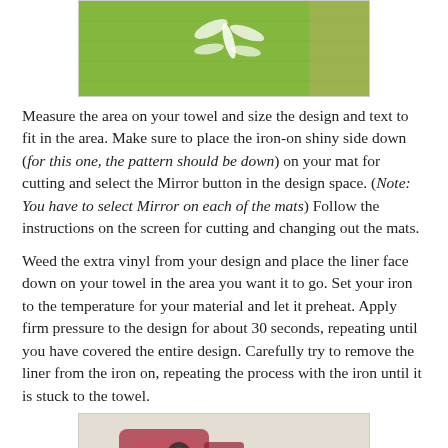[Figure (photo): Green towel with white dragonfly iron-on design, partially visible at top of page]
Measure the area on your towel and size the design and text to fit in the area. Make sure to place the iron-on shiny side down (for this one, the pattern should be down) on your mat for cutting and select the Mirror button in the design space. (Note: You have to select Mirror on each of the mats) Follow the instructions on the screen for cutting and changing out the mats.
Weed the extra vinyl from your design and place the liner face down on your towel in the area you want it to go. Set your iron to the temperature for your material and let it preheat. Apply firm pressure to the design for about 30 seconds, repeating until you have covered the entire design. Carefully try to remove the liner from the iron on, repeating the process with the iron until it is stuck to the towel.
[Figure (photo): Iron and heat press tool on beige surface, partially visible at bottom of page]